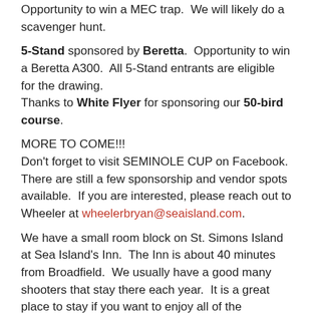Opportunity to win a MEC trap. We will likely do a scavenger hunt.
5-Stand sponsored by Beretta. Opportunity to win a Beretta A300. All 5-Stand entrants are eligible for the drawing.
Thanks to White Flyer for sponsoring our 50-bird course.
MORE TO COME!!!
Don't forget to visit SEMINOLE CUP on Facebook. There are still a few sponsorship and vendor spots available. If you are interested, please reach out to Wheeler at wheelerbryan@seaisland.com.
We have a small room block on St. Simons Island at Sea Island's Inn. The Inn is about 40 minutes from Broadfield. We usually have a good many shooters that stay there each year. It is a great place to stay if you want to enjoy all of the awesome places to eat on the Island. The discount code is 844-792-8338. https://www.seaisland.com/accommodations/the-inn-at-sea-island/